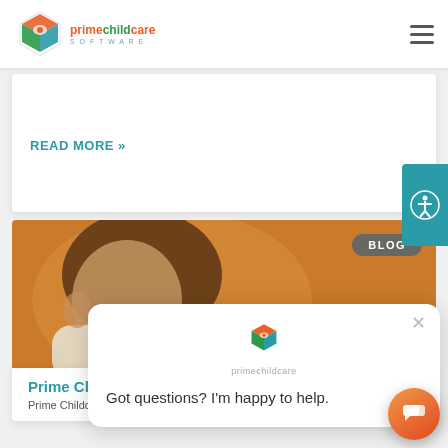primechildcare SOFTWARE
can be a seamless process when you use the right childcare management software. ... Read More
READ MORE »
[Figure (photo): Orange background photo of a young child, partially visible face, with a BLOG badge overlay]
Prime Childcare V2.6 No...
Prime Childcare V2.6 now allows...
[Figure (other): Chat popup widget with logo and message: Got questions? I'm happy to help.]